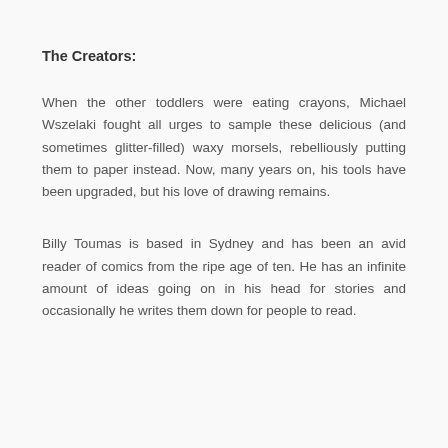The Creators:
When the other toddlers were eating crayons, Michael Wszelaki fought all urges to sample these delicious (and sometimes glitter-filled) waxy morsels, rebelliously putting them to paper instead. Now, many years on, his tools have been upgraded, but his love of drawing remains.
Billy Toumas is based in Sydney and has been an avid reader of comics from the ripe age of ten. He has an infinite amount of ideas going on in his head for stories and occasionally he writes them down for people to read.